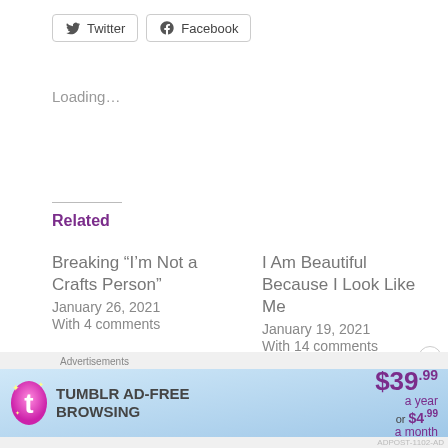[Figure (other): Twitter and Facebook social share buttons]
Loading...
Related
Breaking “I’m Not a Crafts Person”
January 26, 2021
With 4 comments
I Am Beautiful Because I Look Like Me
January 19, 2021
With 14 comments
An Ode to Mornings
January 13, 2021
With 12 comments
[Figure (other): Tumblr AD-FREE BROWSING advertisement banner: $39.99 a year or $4.99 a month]